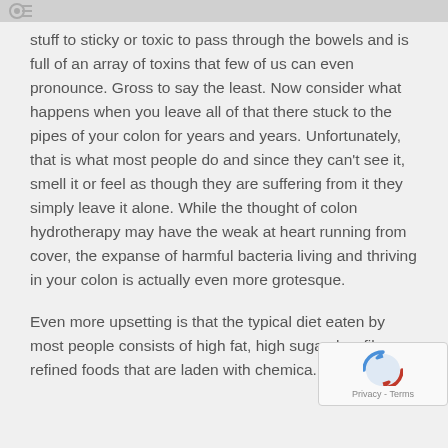stuff to sticky or toxic to pass through the bowels and is full of an array of toxins that few of us can even pronounce.  Gross to say the least.  Now consider what happens when you leave all of that there stuck to the pipes of your colon for years and years.  Unfortunately, that is what most people do and since they can't see it, smell it or feel as though they are suffering from it they simply leave it alone.  While the thought of colon hydrotherapy may have the weak at heart running from cover, the expanse of harmful bacteria living and thriving in your colon is actually even more grotesque.
Even more upsetting is that the typical diet eaten by most people consists of high fat, high sugar, low fiber, refined foods that are laden with chemicals...